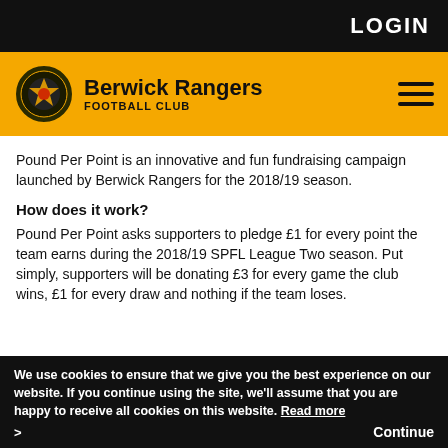LOGIN
[Figure (logo): Berwick Rangers Football Club logo with yellow and black crest, club name text]
Pound Per Point is an innovative and fun fundraising campaign launched by Berwick Rangers for the 2018/19 season.
How does it work?
Pound Per Point asks supporters to pledge £1 for every point the team earns during the 2018/19 SPFL League Two season. Put simply, supporters will be donating £3 for every game the club wins, £1 for every draw and nothing if the team loses.
We use cookies to ensure that we give you the best experience on our website. If you continue using the site, we'll assume that you are happy to receive all cookies on this website. Read more > Continue